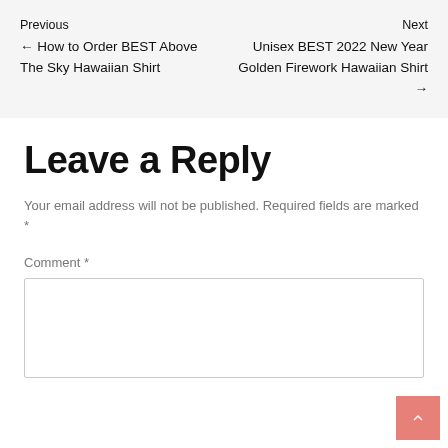Previous ← How to Order BEST Above The Sky Hawaiian Shirt
Next Unisex BEST 2022 New Year Golden Firework Hawaiian Shirt →
Leave a Reply
Your email address will not be published. Required fields are marked *
Comment *